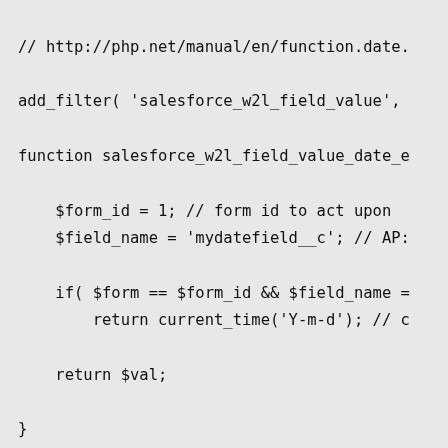// http://php.net/manual/en/function.date.

add_filter( 'salesforce_w2l_field_value',

function salesforce_w2l_field_value_date_e

    $form_id = 1; // form id to act upon
    $field_name = 'mydatefield__c'; // AP:

    if( $form == $form_id && $field_name =
        return current_time('Y-m-d'); // c

    return $val;

}